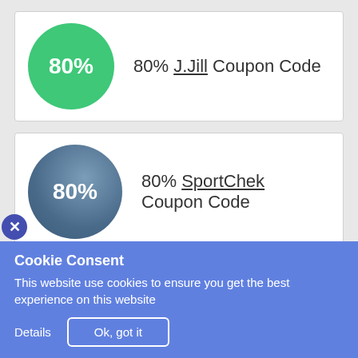[Figure (infographic): Green circle with '80%' text]
80% J.Jill Coupon Code
[Figure (infographic): Blue-gray circle with '80%' text]
80% SportChek Coupon Code
[Figure (infographic): Orange-pink circle with 'Upto 10%' text]
Upto 10% Alexandra Discount Codes
Cookie Consent
This website use cookies to ensure you get the best experience on this website
Details  Ok, got it